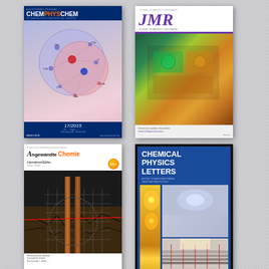[Figure (photo): Journal cover of ChemPhysChem (17/2015) showing molecular orbital diagram with overlapping circles on blue/purple/pink background]
[Figure (photo): Journal cover of JMR (Journal of Magnetic Resonance) showing electronic/circuit components in green and gold]
[Figure (photo): Journal cover of Angewandte Chemie International Edition 2014-50/37 showing laser rods experiment in field setting]
[Figure (photo): Journal cover of Chemical Physics Letters showing molecular/materials science imagery on blue background]
[Figure (photo): Partial journal cover of ChemPhysChem visible at bottom]
[Figure (photo): Partial journal cover of JMR visible at bottom]